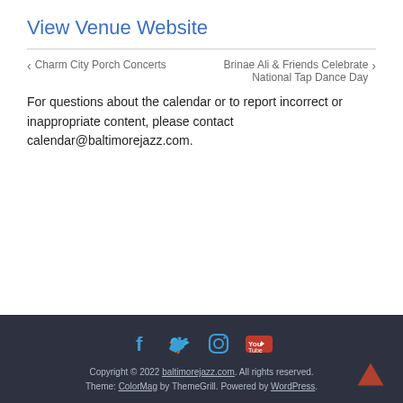View Venue Website
< Charm City Porch Concerts   Brinae Ali & Friends Celebrate National Tap Dance Day >
For questions about the calendar or to report incorrect or inappropriate content, please contact calendar@baltimorejazz.com.
Copyright © 2022 baltimorejazz.com. All rights reserved. Theme: ColorMag by ThemeGrill. Powered by WordPress.